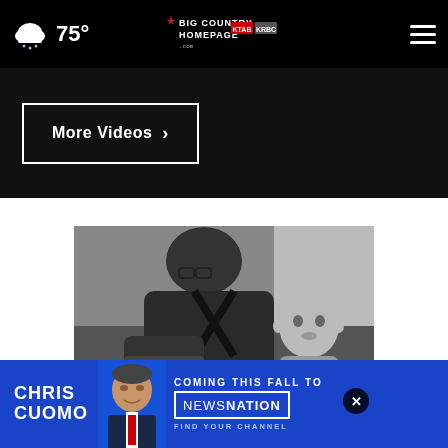75° Big Country Homepage - KTAB KRBC
[Figure (screenshot): More Videos button with right arrow on dark background]
[Figure (photo): Black and white photo of a man wearing glasses and an apron working at a counter with a baby on his back looking at the camera]
[Figure (photo): Advertisement banner: Chris Cuomo Coming This Fall to NewsNation - Find Your Channel]